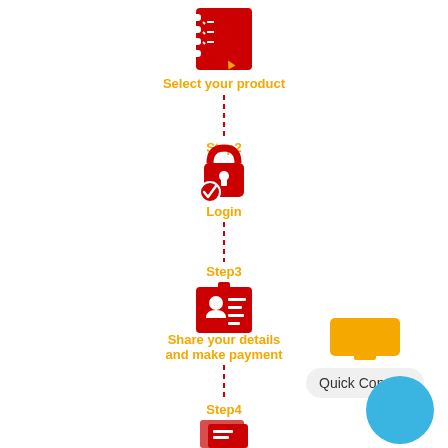[Figure (flowchart): A vertical step-by-step process flow showing: Step 1 (Select your product) with a red checklist icon, dashed red connector line, Step 2 label, Step 2 (Login) with a red padlock/checkmark icon, dashed red connector line, Step 3 label, Step 3 (Share your details and make payment) with a red ID card icon, dashed red connector line, Step 4 label, Step 4 with a red document/invoice icon (partially visible). Labels in orange, icons in red. On the right side: an orange Quick Connect widget and a blue circle.]